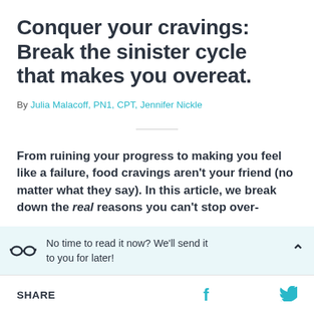Conquer your cravings: Break the sinister cycle that makes you overeat.
By Julia Malacoff, PN1, CPT, Jennifer Nickle
From ruining your progress to making you feel like a failure, food cravings aren't your friend (no matter what they say). In this article, we break down the real reasons you can't stop over-
No time to read it now? We'll send it to you for later!
SHARE